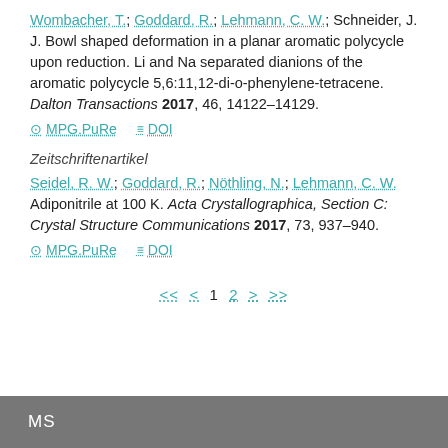Wombacher, T.; Goddard, R.; Lehmann, C. W.; Schneider, J. J. Bowl shaped deformation in a planar aromatic polycycle upon reduction. Li and Na separated dianions of the aromatic polycycle 5,6:11,12-di-o-phenylene-tetracene. Dalton Transactions 2017, 46, 14122–14129.
⊙ MPG.PuRe   ≡ DOI
Zeitschriftenartikel
Seidel, R. W.; Goddard, R.; Nöthling, N.; Lehmann, C. W. Adiponitrile at 100 K. Acta Crystallographica, Section C: Crystal Structure Communications 2017, 73, 937–940.
⊙ MPG.PuRe   ≡ DOI
<< < 1 2 > >>
MS